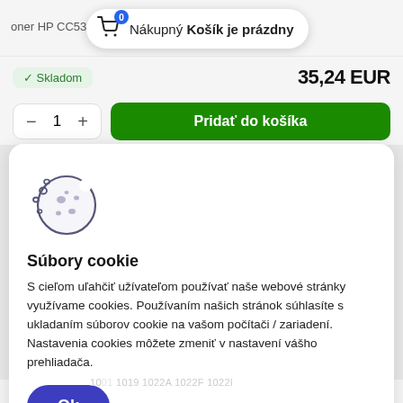oner HP CC533A Magr
0  Nákupný Košík je prázdny
✓ Skladom
35,24 EUR
- 1 + Pridať do košíka
[Figure (illustration): Cookie icon — a round cookie with bite marks and crumbs]
Súbory cookie
S cieľom uľahčiť užívateľom používať naše webové stránky využívame cookies. Používaním našich stránok súhlasíte s ukladaním súborov cookie na vašom počítači / zariadení. Nastavenia cookies môžete zmeniť v nastavení vášho prehliadača.
Ok
oner Canon C-EXV18 •